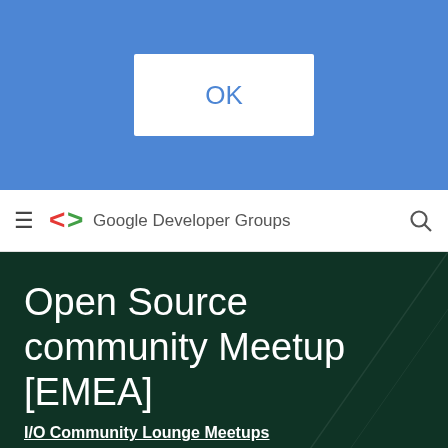[Figure (screenshot): Blue dialog overlay with OK button in white rounded rectangle]
Google Developer Groups
Open Source community Meetup [EMEA]
I/O Community Lounge Meetups
Wed, May 19, 2021, 6:00 AM (PDT)
497 RSVP'ed
Virtual event